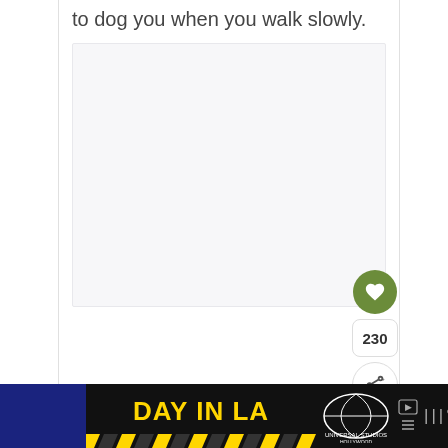to dog you when you walk slowly.
[Figure (other): Large light gray placeholder image area]
[Figure (other): UI action buttons: heart/like button (green circle), count 230, share button]
[Figure (other): Advertisement banner: DAY IN LA with Universal Studios Hollywood logo on black background with yellow chevron stripe]